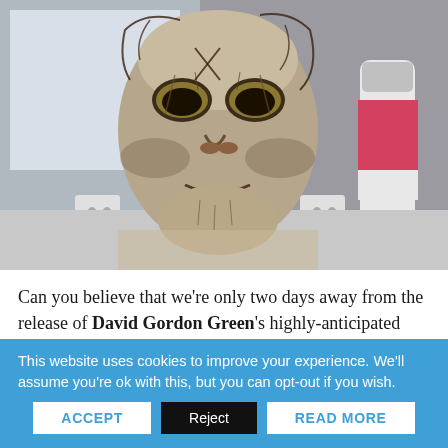[Figure (photo): Close-up photo of a worn, pale horror mask resembling the Michael Myers Halloween mask, resting on a surface in what appears to be a workshop or store setting. Spray cans and equipment visible in background.]
Can you believe that we're only two days away from the release of David Gordon Green's highly-anticipated Halloween sequel? Since the first trailer dropped back in July, we have been super hyped to see the king of slasher movies return to the big screen. Some of us here at Dark...
This website uses cookies to improve your experience. We'll assume you're ok with this, but you can opt-out if you wish.